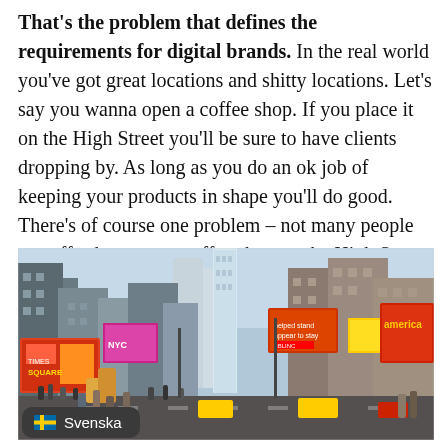That's the problem that defines the requirements for digital brands. In the real world you've got great locations and shitty locations. Let's say you wanna open a coffee shop. If you place it on the High Street you'll be sure to have clients dropping by. As long as you do an ok job of keeping your products in shape you'll do good. There's of course one problem – not many people can afford to open a coffee shop on the High Street.
[Figure (photo): Busy urban street scene resembling Times Square with tall buildings, large colorful billboards and advertisements]